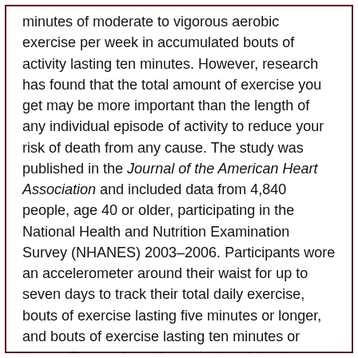minutes of moderate to vigorous aerobic exercise per week in accumulated bouts of activity lasting ten minutes. However, research has found that the total amount of exercise you get may be more important than the length of any individual episode of activity to reduce your risk of death from any cause. The study was published in the Journal of the American Heart Association and included data from 4,840 people, age 40 or older, participating in the National Health and Nutrition Examination Survey (NHANES) 2003–2006. Participants wore an accelerometer around their waist for up to seven days to track their total daily exercise, bouts of exercise lasting five minutes or longer, and bouts of exercise lasting ten minutes or longer. Researchers then monitored death records of the participants for more than six years to assess how physical activity affected mortality. After controlling for factors including age, gender, weight, and smoking and alcohol habits, researchers found that:
Regardless of how the physical activity was